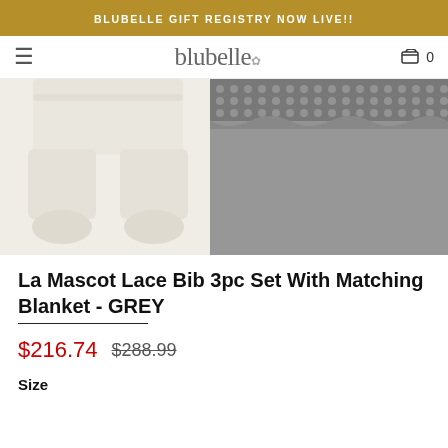BLUBELLE GIFT REGISTRY NOW LIVE!!
blubelle
[Figure (photo): Product photo showing cream/white baby footed pants on the left and a grey knit blanket with lace trim on the right]
La Mascot Lace Bib 3pc Set With Matching Blanket - GREY
$216.74  $288.99
Size